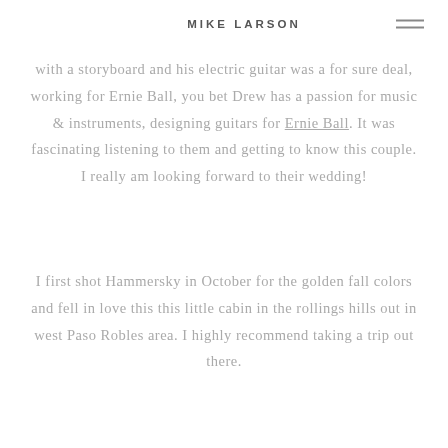MIKE LARSON
with a storyboard and his electric guitar was a for sure deal, working for Ernie Ball, you bet Drew has a passion for music & instruments, designing guitars for Ernie Ball. It was fascinating listening to them and getting to know this couple. I really am looking forward to their wedding!
I first shot Hammersky in October for the golden fall colors and fell in love this this little cabin in the rollings hills out in west Paso Robles area. I highly recommend taking a trip out there.